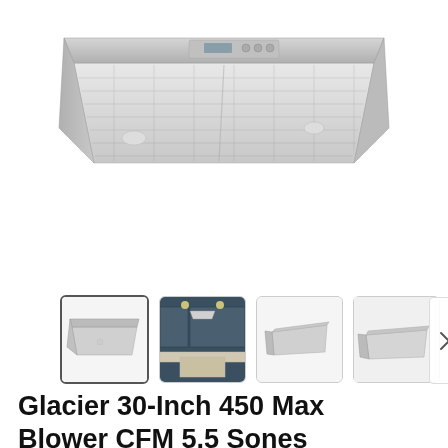[Figure (photo): Main product photo of a stainless steel under-cabinet range hood (Glacier 30-inch) shown from a slightly elevated angle against a white background.]
[Figure (photo): Thumbnail row with 4 product images: (1) selected - front view of stainless range hood, (2) kitchen scene with range hood installed, (3) side/profile view of range hood, (4) another angle of range hood. A right-arrow navigation button is visible on the last thumbnail.]
Glacier 30-Inch 450 Max Blower CFM 5.5 Sones Stainless Steel Range Hood